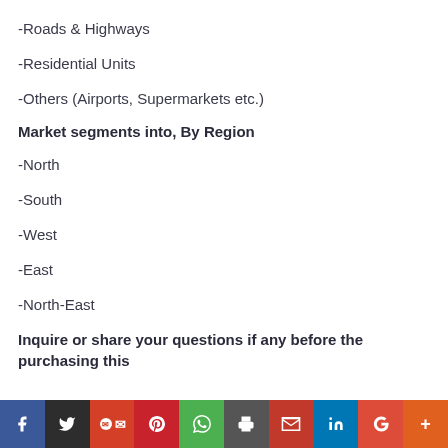-Roads & Highways
-Residential Units
-Others (Airports, Supermarkets etc.)
Market segments into, By Region
-North
-South
-West
-East
-North-East
Inquire or share your questions if any before the purchasing this